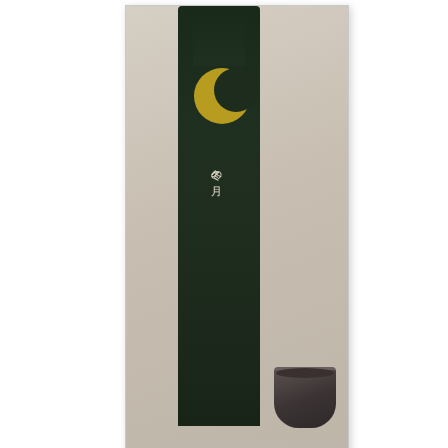[Figure (photo): A dark green sake bottle with a crescent moon design and Japanese text label, next to a small dark ceramic cup, photographed against a light beige background. The image has a light gray border with corner markers.]
Time to introduce another great Sake from Okayama Prefecture, this time coming from Kamikokoro Shuzo 神心酒造 in Asakuchi. Aside from the absolutely stunning label, there are a few interesting features to this Sake. Firstly, Winter's Moon belongs to the Junmai Ginjo class and is unfiltered, undiluted and unpasteurized (生原酒). Nothing ... special in